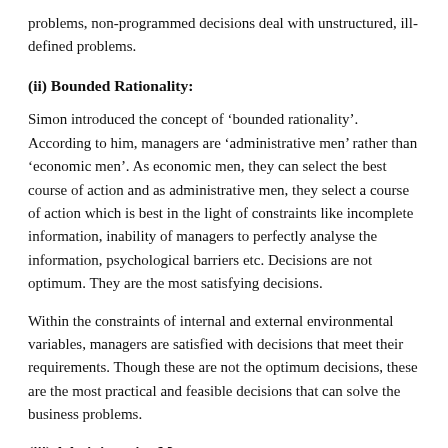problems, non-programmed decisions deal with unstructured, ill-defined problems.
(ii) Bounded Rationality:
Simon introduced the concept of ‘bounded rationality’. According to him, managers are ‘administrative men’ rather than ‘economic men’. As economic men, they can select the best course of action and as administrative men, they select a course of action which is best in the light of constraints like incomplete information, inability of managers to perfectly analyse the information, psychological barriers etc. Decisions are not optimum. They are the most satisfying decisions.
Within the constraints of internal and external environmental variables, managers are satisfied with decisions that meet their requirements. Though these are not the optimum decisions, these are the most practical and feasible decisions that can solve the business problems.
(iii) Administrative Man: